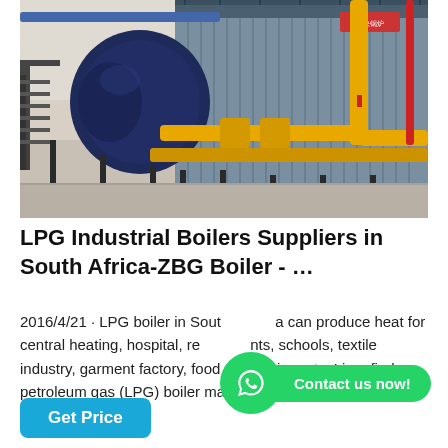[Figure (photo): Industrial LPG boiler system in a factory setting. A large dark blue cylindrical boiler is visible on the left with metal stairs/gantry, connected to prominent yellow gas pipes running horizontally and vertically. Behind is a large rectangular corrugated metal container/structure. The floor is concrete and the building interior is visible in the background.]
LPG Industrial Boilers Suppliers in South Africa-ZBG Boiler - …
2016/4/21 · LPG boiler in South Africa can produce heat for central heating, hospital, restaurants, schools, textile industry, garment factory, food processing, etc. Liquefied petroleum gas (LPG) boiler manufacturer. We offer top…